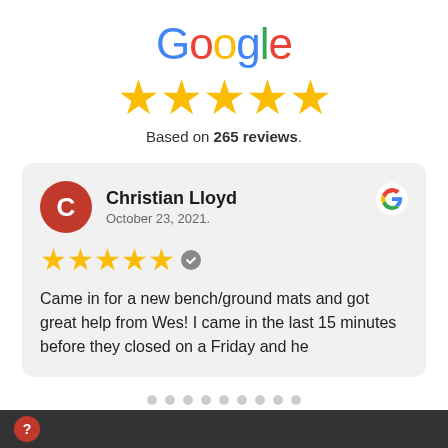[Figure (logo): Google logo in multicolor text]
[Figure (infographic): Five gold star rating icons]
Based on 265 reviews.
Christian Lloyd
October 23, 2021.
★★★★★ ✓
Came in for a new bench/ground mats and got great help from Wes! I came in the last 15 minutes before they closed on a Friday and he
[Figure (infographic): Navigation dots row (9 dots, all grey)]
?